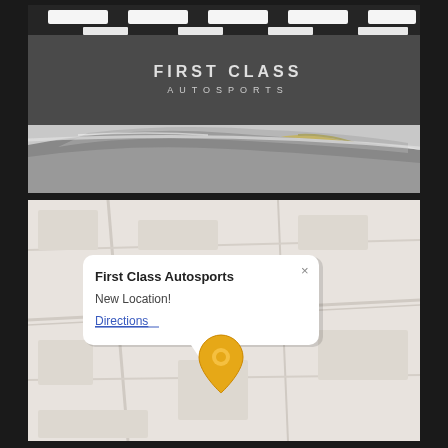[Figure (photo): Interior of First Class Autosports dealership showroom with multiple sports cars including a yellow Porsche 911 and a dark car with red accents. The dealership sign reads 'FIRST CLASS AUTOSPORTS' on the back wall. Bright ceiling with recessed lighting panels.]
[Figure (map): Google Maps screenshot showing a map with a location pin for First Class Autosports with a popup info bubble showing the business name, 'New Location!' text and a 'Directions' link in blue.]
First Class Autosports
New Location!
Directions